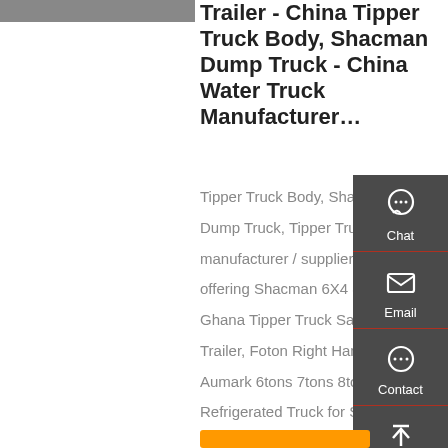[Figure (photo): Partial view of a vehicle or truck, gray background, top-left corner]
Trailer - China Tipper Truck Body, Shacman Dump Truck - China Water Truck Manufacturer…
Tipper Truck Body, Shacman Dump Truck, Tipper Truck manufacturer / supplier in China offering Shacman 6X4 8X4 Ghana Tipper Truck Sale Tipper Trailer, Foton Right Hand Drive Aumark 6tons 7tons 8tons Refrigerated Truck for Sale, Good Quality Dongfeng 3tons
[Figure (infographic): Sidebar with Chat, Email, Contact, Top navigation icons on dark gray background]